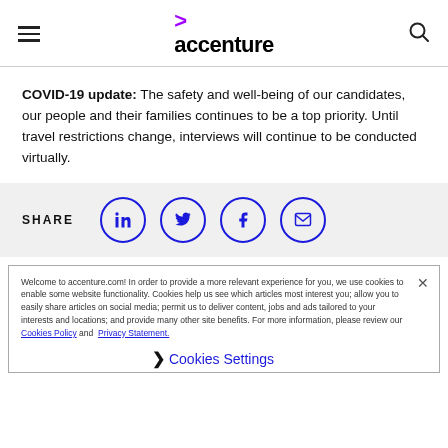accenture (navigation header with hamburger menu and search icon)
COVID-19 update: The safety and well-being of our candidates, our people and their families continues to be a top priority. Until travel restrictions change, interviews will continue to be conducted virtually.
[Figure (infographic): SHARE bar with LinkedIn, Twitter, Facebook, and email icons in blue circles]
Welcome to accenture.com! In order to provide a more relevant experience for you, we use cookies to enable some website functionality. Cookies help us see which articles most interest you; allow you to easily share articles on social media; permit us to deliver content, jobs and ads tailored to your interests and locations; and provide many other site benefits. For more information, please review our Cookies Policy and Privacy Statement.
Cookies Settings